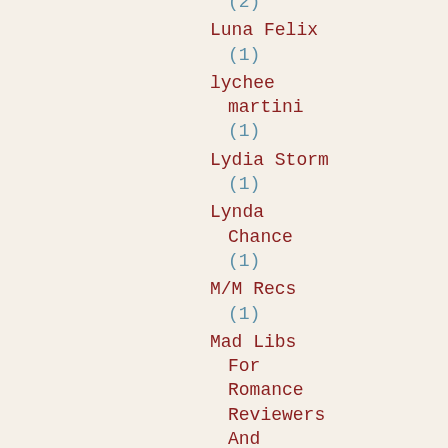(2)
Luna Felix
  (1)
lychee
  martini
  (1)
Lydia Storm
  (1)
Lynda
  Chance
  (1)
M/M Recs
  (1)
Mad Libs
  For
  Romance
  Reviewers
  And